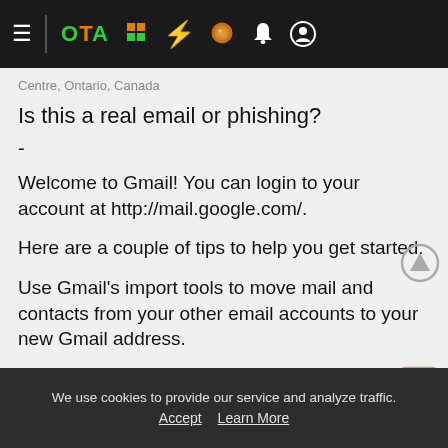≡ OTA [icons: tree, bolt, search, bell, user]
Centre, Ontario, Canada
Is this a real email or phishing?
-
Welcome to Gmail! You can login to your account at http://mail.google.com/.
Here are a couple of tips to help you get started:
Use Gmail's import tools to move mail and contacts from your other email accounts to your new Gmail address.
Download the mobile app for Android or iPhone and iPad
We use cookies to provide our service and analyze traffic. Accept  Learn More